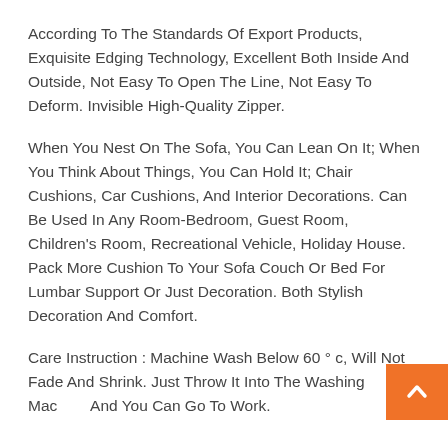According To The Standards Of Export Products, Exquisite Edging Technology, Excellent Both Inside And Outside, Not Easy To Open The Line, Not Easy To Deform. Invisible High-Quality Zipper.
When You Nest On The Sofa, You Can Lean On It; When You Think About Things, You Can Hold It; Chair Cushions, Car Cushions, And Interior Decorations. Can Be Used In Any Room-Bedroom, Guest Room, Children's Room, Recreational Vehicle, Holiday House. Pack More Cushion To Your Sofa Couch Or Bed For Lumbar Support Or Just Decoration. Both Stylish Decoration And Comfort.
Care Instruction : Machine Wash Below 60 ° c, Will Not Fade And Shrink. Just Throw It Into The Washing Machine And You Can Go To Work.